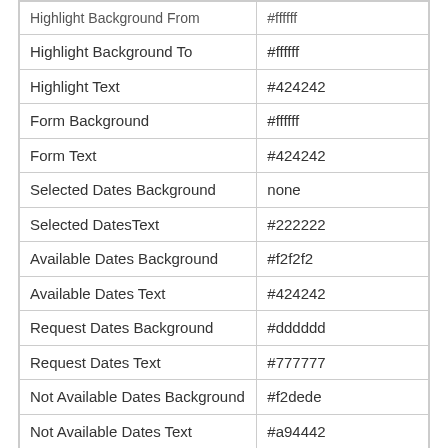| Property | Value |
| --- | --- |
| Highlight Background From | #ffffff |
| Highlight Background To | #ffffff |
| Highlight Text | #424242 |
| Form Background | #ffffff |
| Form Text | #424242 |
| Selected Dates Background | none |
| Selected DatesText | #222222 |
| Available Dates Background | #f2f2f2 |
| Available Dates Text | #424242 |
| Request Dates Background | #dddddd |
| Request Dates Text | #777777 |
| Not Available Dates Background | #f2dede |
| Not Available Dates Text | #a94442 |
| Button Style | flat |
| Button Background | #008acc |